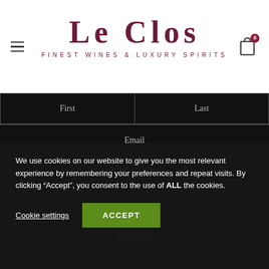[Figure (logo): Le Clos - Finest Wines & Luxury Spirits logo with hamburger menu icon on left and shopping bag icon with badge 0 on right]
First
Last
Email
SIGN UP
SHOP
Bordeaux
We use cookies on our website to give you the most relevant experience by remembering your preferences and repeat visits. By clicking “Accept”, you consent to the use of ALL the cookies.
Cookie settings
ACCEPT